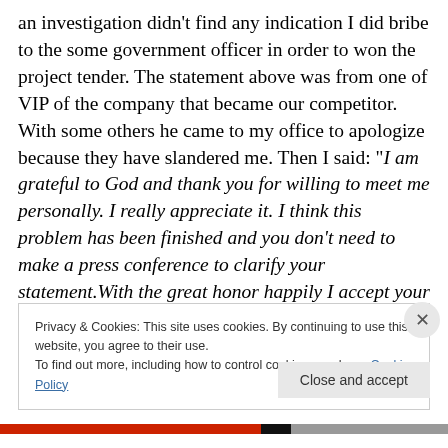an investigation didn't find any indication I did bribe to the some government officer in order to won the project tender. The statement above was from one of VIP of the company that became our competitor. With some others he came to my office to apologize because they have slandered me. Then I said: "I am grateful to God and thank you for willing to meet me personally. I really appreciate it. I think this problem has been finished and you don't need to make a press conference to clarify your statement.With the great honor happily I accept your apology. I hope and pray that in the future we could work together to make a
Privacy & Cookies: This site uses cookies. By continuing to use this website, you agree to their use.
To find out more, including how to control cookies, see here: Cookie Policy
Close and accept